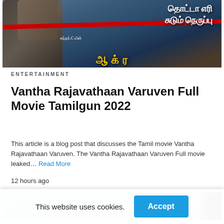[Figure (photo): Movie poster for Tamil film showing fist, Tamil text in white and yellow, red bar across the middle, credited to Sundhar.C]
ENTERTAINMENT
Vantha Rajavathaan Varuven Full Movie Tamilgun 2022
This article is a blog post that discusses the Tamil movie Vantha Rajavathaan Varuven. The Vantha Rajavathaan Varuven Full movie leaked… Read More
12 hours ago
[Figure (photo): Partial view of another movie or article image, light blue background with dark figure on the right]
This website uses cookies.  Accept